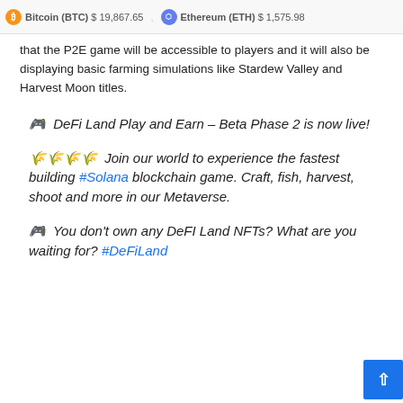Bitcoin (BTC) $ 19,867.65   Ethereum (ETH) $ 1,575.98
that the P2E game will be accessible to players and it will also be displaying basic farming simulations like Stardew Valley and Harvest Moon titles.
🎮 DeFi Land Play and Earn – Beta Phase 2 is now live!
🌾🌾🌾🌾 Join our world to experience the fastest building #Solana blockchain game. Craft, fish, harvest, shoot and more in our Metaverse.
🎮 You don't own any DeFI Land NFTs? What are you waiting for? #DeFiLand